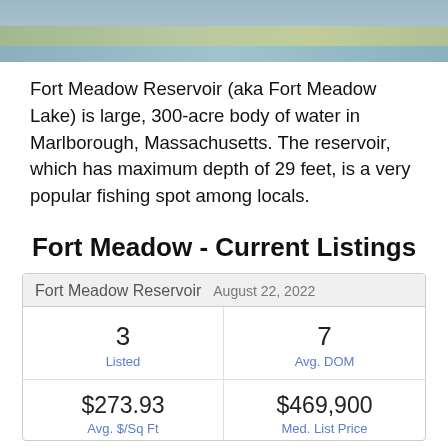[Figure (photo): Partial photo of Fort Meadow Reservoir showing water and grassy shoreline]
Fort Meadow Reservoir (aka Fort Meadow Lake) is large, 300-acre body of water in Marlborough, Massachusetts. The reservoir, which has maximum depth of 29 feet, is a very popular fishing spot among locals.
Fort Meadow - Current Listings
| Fort Meadow Reservoir | August 22, 2022 |  |  |
| --- | --- | --- | --- |
| 3 | Listed | 7 | Avg. DOM |
| $273.93 | Avg. $/Sq Ft | $469,900 | Med. List Price |